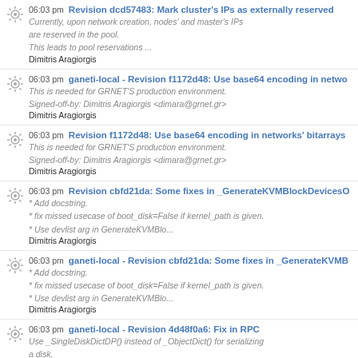06:03 pm Revision dcd57483: Mark cluster's IPs as externally reserved
Currently, upon network creation, nodes' and master's IPs
are reserved in the pool.
This leads to pool reservations ...
Dimitris Aragiorgis
06:03 pm ganeti-local - Revision f1172d48: Use base64 encoding in netwo...
This is needed for GRNET'S production environment.
Signed-off-by: Dimitris Aragiorgis <dimara@grnet.gr>
Dimitris Aragiorgis
06:03 pm Revision f1172d48: Use base64 encoding in networks' bitarrays...
This is needed for GRNET'S production environment.
Signed-off-by: Dimitris Aragiorgis <dimara@grnet.gr>
Dimitris Aragiorgis
06:03 pm Revision cbfd21da: Some fixes in _GenerateKVMBlockDevicesO...
* Add docstring.
* fix missed usecase of boot_disk=False if kernel_path is given.
* Use devlist arg in GenerateKVMBlo...
Dimitris Aragiorgis
06:03 pm ganeti-local - Revision cbfd21da: Some fixes in _GenerateKVMB...
* Add docstring.
* fix missed usecase of boot_disk=False if kernel_path is given.
* Use devlist arg in GenerateKVMBlo...
Dimitris Aragiorgis
06:03 pm ganeti-local - Revision 4d48f0a6: Fix in RPC
Use _SingleDiskDictDP() instead of _ObjectDict() for serializing a disk.
Signed-off-by: Dimitris Aragiorgis <dimara@...
Dimitris Aragiorgis
06:03 pm Revision 4d48f0a6: Fix in RPC